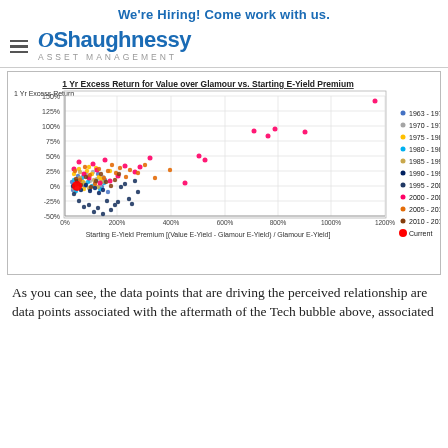We're Hiring! Come work with us.
[Figure (logo): OShaughnessy Asset Management logo with hamburger menu icon]
[Figure (continuous-plot): Scatter plot: 1 Yr Excess Return for Value over Glamour vs. Starting E-Yield Premium. X-axis: Starting E-Yield Premium [(Value E-Yield - Glamour E-Yield) / Glamour E-Yield], ranging 0% to 1200%. Y-axis: 1 Yr Excess Return, ranging -50% to 150%. Data series by time period: 1963-1970 (blue dots), 1970-1975 (grey dots), 1975-1980 (yellow dots), 1980-1985 (light blue dots), 1985-1990 (tan dots), 1990-1995 (dark blue dots), 1995-2000 (navy dots), 2000-2005 (pink/magenta dots), 2005-2010 (orange dots), 2010-2016 (dark orange/brown dots), Current (large red dot near origin).]
As you can see, the data points that are driving the perceived relationship are data points associated with the aftermath of the Tech bubble above, associated